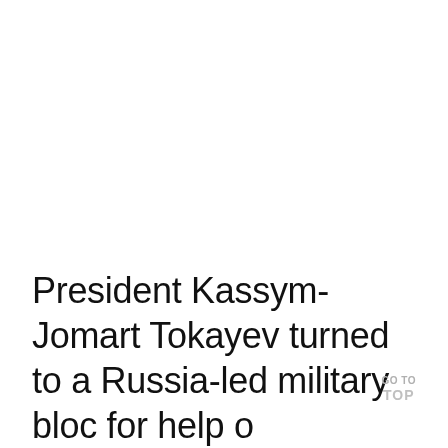President Kassym-Jomart Tokayev turned to a Russia-led military bloc for help o...
GO TO TOP